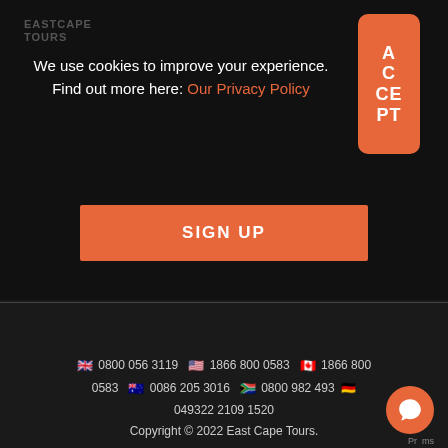EASTCAPE TOURS
ACCEPT
We use cookies to improve your experience. Find out more here: Our Privacy Policy
SIGN UP
🇬🇧 0800 056 3119  🇺🇸 1866 800 0583  🇨🇦 1866 800 0583  🇦🇺 0086 205 3016  🇿🇦 0800 982 493  🇩🇪 049322 2109 1520
Copyright © 2022 East Cape Tours.